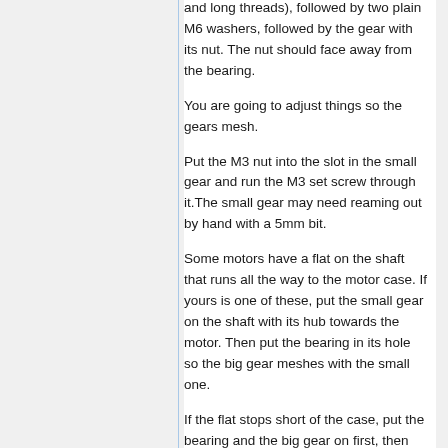and long threads), followed by two plain M6 washers, followed by the gear with its nut. The nut should face away from the bearing.
You are going to adjust things so the gears mesh.
Put the M3 nut into the slot in the small gear and run the M3 set screw through it.The small gear may need reaming out by hand with a 5mm bit.
Some motors have a flat on the shaft that runs all the way to the motor case. If yours is one of these, put the small gear on the shaft with its hub towards the motor. Then put the bearing in its hole so the big gear meshes with the small one.
If the flat stops short of the case, put the bearing and the big gear on first, then put the small gear on the other way